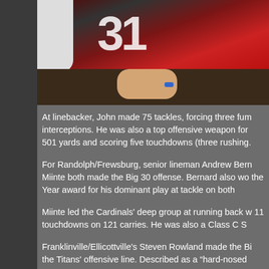[Figure (photo): Two people wearing red football jerseys (one showing number 31) seated, with hands clasped, against a dark background]
At linebacker, John made 75 tackles, forcing three fum interceptions. He was also a top offensive weapon for 501 yards and scoring five touchdowns (three rushing.
For Randolph/Frewsburg, senior lineman Andrew Bern Miinte both made the Big 30 offense. Bernard also wo the Year award for his dominant play at tackle on both
Miinte led the Cardinals' deep group at running back w 11 touchdowns on 121 carries. He was also a Class C S
Franklinville/Ellicottville's Steven Rowland made the Bi the Titans' offensive line. Described as a "hard-nosed